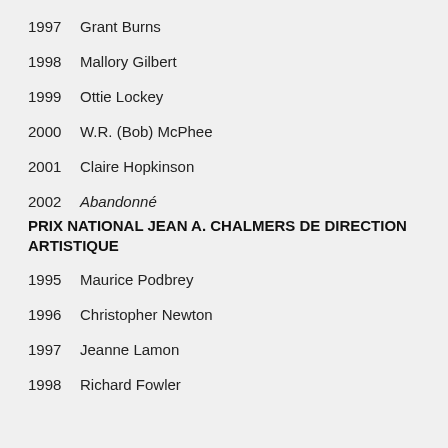1997  Grant Burns
1998  Mallory Gilbert
1999  Ottie Lockey
2000  W.R. (Bob) McPhee
2001  Claire Hopkinson
2002  Abandonné
PRIX NATIONAL JEAN A. CHALMERS DE DIRECTION ARTISTIQUE
1995  Maurice Podbrey
1996  Christopher Newton
1997  Jeanne Lamon
1998  Richard Fowler